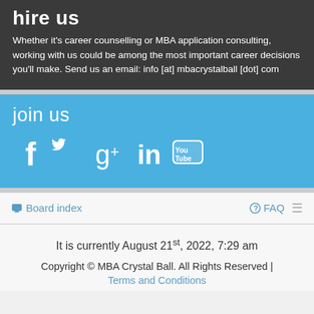hire us
Whether it's career counselling or MBA application consulting, working with us could be among the most important career decisions you'll make. Send us an email: info [at] mbacrystalball [dot] com
join us
[Figure (infographic): Social media icons: Facebook, Twitter, Google+, LinkedIn, YouTube]
Board index
FAQ
It is currently August 21st, 2022, 7:29 am
Copyright © MBA Crystal Ball. All Rights Reserved |
Terms and Conditions